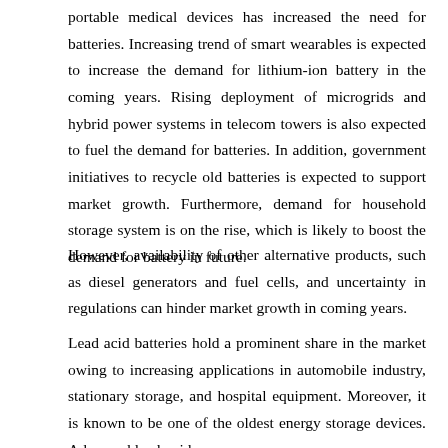portable medical devices has increased the need for batteries. Increasing trend of smart wearables is expected to increase the demand for lithium-ion battery in the coming years. Rising deployment of microgrids and hybrid power systems in telecom towers is also expected to fuel the demand for batteries. In addition, government initiatives to recycle old batteries is expected to support market growth. Furthermore, demand for household storage system is on the rise, which is likely to boost the demand for battery in future.
However, availability of other alternative products, such as diesel generators and fuel cells, and uncertainty in regulations can hinder market growth in coming years.
Lead acid batteries hold a prominent share in the market owing to increasing applications in automobile industry, stationary storage, and hospital equipment. Moreover, it is known to be one of the oldest energy storage devices. Advanced lead-acid